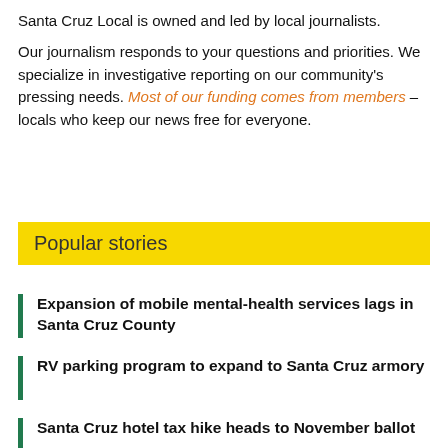Santa Cruz Local is owned and led by local journalists.
Our journalism responds to your questions and priorities. We specialize in investigative reporting on our community's pressing needs. Most of our funding comes from members – locals who keep our news free for everyone.
Popular stories
Expansion of mobile mental-health services lags in Santa Cruz County
RV parking program to expand to Santa Cruz armory
Santa Cruz hotel tax hike heads to November ballot
Homeless plan gets mixed results in Santa Cruz County